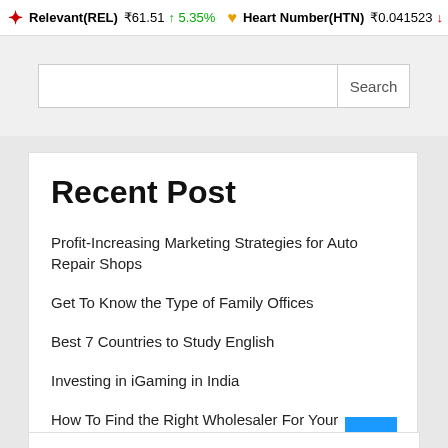Relevant(REL) ₹61.51 ↑ 5.35%   Heart Number(HTN) ₹0.041523 ↓
[Figure (screenshot): Search input box with Search button]
Recent Post
Profit-Increasing Marketing Strategies for Auto Repair Shops
Get To Know the Type of Family Offices
Best 7 Countries to Study English
Investing in iGaming in India
How To Find the Right Wholesaler For Your Business?